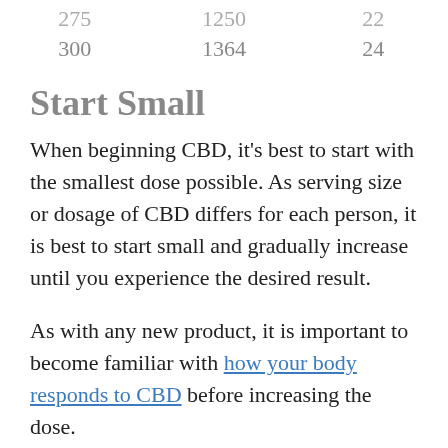| 275 | 1250 | 22 |
| 300 | 1364 | 24 |
Start Small
When beginning CBD, it’s best to start with the smallest dose possible. As serving size or dosage of CBD differs for each person, it is best to start small and gradually increase until you experience the desired result.
As with any new product, it is important to become familiar with how your body responds to CBD before increasing the dose.